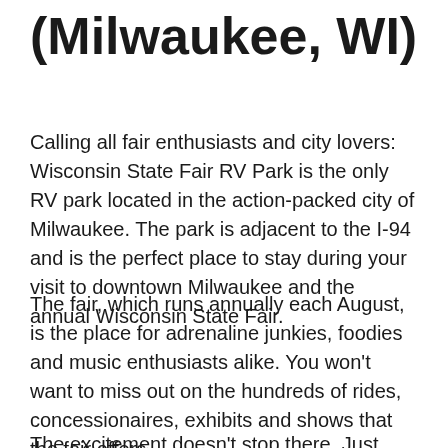(Milwaukee, WI)
Calling all fair enthusiasts and city lovers: Wisconsin State Fair RV Park is the only RV park located in the action-packed city of Milwaukee. The park is adjacent to the I-94 and is the perfect place to stay during your visit to downtown Milwaukee and the annual Wisconsin State Fair.
The fair, which runs annually each August, is the place for adrenaline junkies, foodies and music enthusiasts alike. You won't want to miss out on the hundreds of rides, concessionaires, exhibits and shows that the fair offers.
The excitement doesn't stop there. Just minutes...